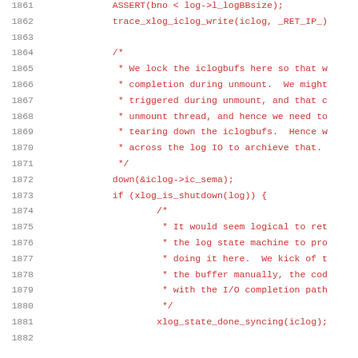[Figure (screenshot): Source code listing (C language) showing lines 1861-1881 with line numbers in gray on the left and code in red/dark-red monospace font. The code includes ASSERT statements, trace calls, a block comment about locking iclogbufs during unmount, down() call, xlog_is_shutdown check, and inner block comment about log state machine, ending with xlog_state_done_syncing call.]